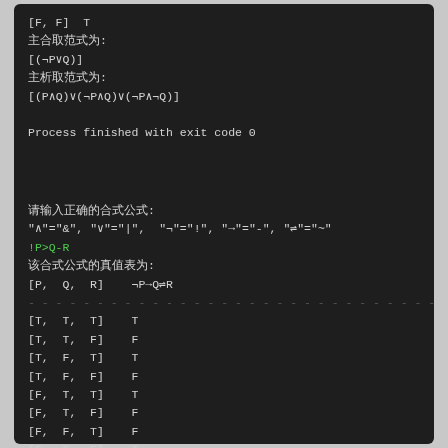[F, F]  T
主合取范式为:
[(¬P∨Q)]
主析取范式为:
[(P∧Q)∨(¬P∧Q)∨(¬P∧¬Q)]

Process finished with exit code 0
请输入正确的合式公式:
"∧"="&", "∨"="|",  "¬"="!", "→"="-", "⇌"="~"
!P>Q-R
该合式公式的真值表为:
[P,  Q,  R]    ¬P→Q⇌R
-------------------------------------------
[T,  T,  T]    T
[T,  T,  F]    F
[T,  F,  T]    T
[T,  F,  F]    F
[F,  T,  T]    T
[F,  T,  F]    F
[F,  F,  T]    F
[F,  F,  F]    T
主合取范式为: